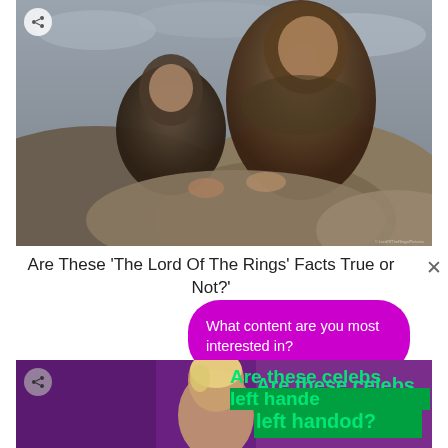[Figure (photo): Two hobbit characters from Lord of the Rings (Frodo and Sam) crouching behind rocks, looking alert. Black and white / desaturated film still.]
Are These 'The Lord Of The Rings' Facts True or Not?'
[Figure (infographic): A magenta/pink rounded speech bubble popup with white text reading 'What content are you most interested in?']
[Figure (photo): Bottom partial photo showing a blonde celebrity on a purple background with green bold text overlay reading 'Are these celebs left handed?']